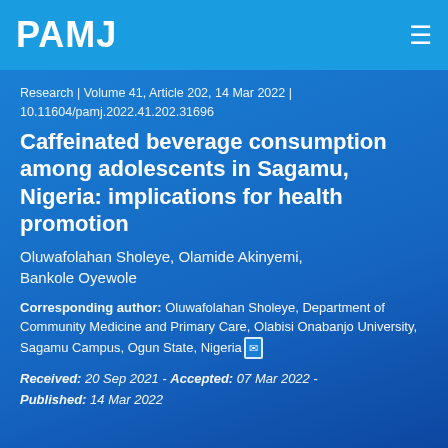PAMJ
Research | Volume 41, Article 202, 14 Mar 2022 | 10.11604/pamj.2022.41.202.31696
Caffeinated beverage consumption among adolescents in Sagamu, Nigeria: implications for health promotion
Oluwafolahan Sholeye, Olamide Akinyemi, Bankole Oyewole
Corresponding author: Oluwafolahan Sholeye, Department of Community Medicine and Primary Care, Olabisi Onabanjo University, Sagamu Campus, Ogun State, Nigeria
Received: 20 Sep 2021 - Accepted: 07 Mar 2022 - Published: 14 Mar 2022